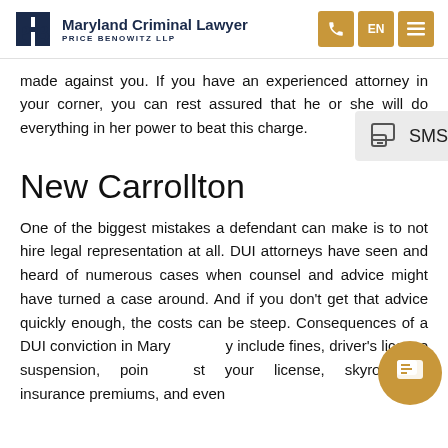Maryland Criminal Lawyer | PRICE BENOWITZ LLP
made against you. If you have an experienced attorney in your corner, you can rest assured that he or she will do everything in her power to beat this charge.
New Carrollton
One of the biggest mistakes a defendant can make is to not hire legal representation at all. DUI attorneys have seen and heard of numerous cases when counsel and advice might have turned a case around. And if you don't get that advice quickly enough, the costs can be steep. Consequences of a DUI conviction in Maryland include fines, driver's license suspension, points against your license, skyrocketing insurance premiums, and even